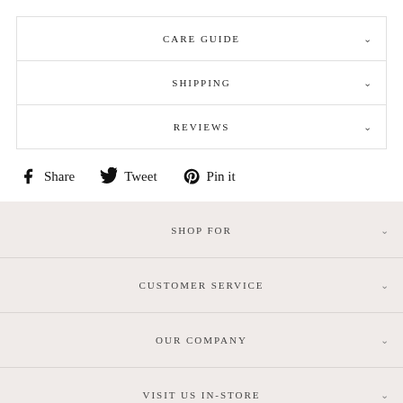CARE GUIDE
SHIPPING
REVIEWS
Share   Tweet   Pin it
SHOP FOR
CUSTOMER SERVICE
OUR COMPANY
VISIT US IN-STORE